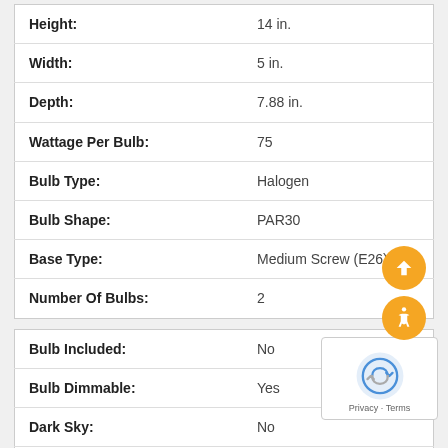| Attribute | Value |
| --- | --- |
| Height: | 14 in. |
| Width: | 5 in. |
| Depth: | 7.88 in. |
| Wattage Per Bulb: | 75 |
| Bulb Type: | Halogen |
| Bulb Shape: | PAR30 |
| Base Type: | Medium Screw (E26) |
| Number Of Bulbs: | 2 |
| Attribute | Value |
| --- | --- |
| Bulb Included: | No |
| Bulb Dimmable: | Yes |
| Dark Sky: | No |
| EnergyStar Compliant: | No |